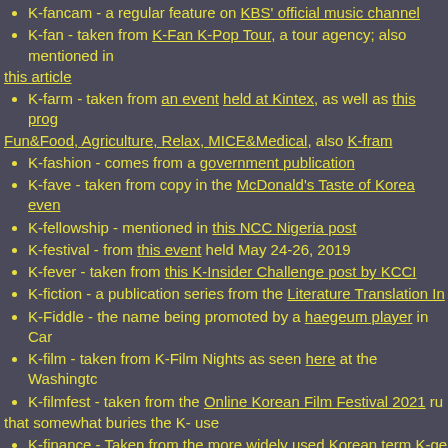K-fancam - a regular feature on KBS' official music channel
K-fan - taken from K-Fan K-Pop Tour, a tour agency; also mentioned in this article
K-farm - taken from an event held at Kintex, as well as this programme Fun&Food, Agriculture, Relax, MICE&Medical, also K-fram
K-fashion - comes from a government publication
K-fave - taken from copy in the McDonald's Taste of Korea event
K-fellowship - mentioned in this NCC Nigeria post
K-festival - from this event held May 24-26, 2019
K-fever - taken from this K-Insider Challenge post by KCCI
K-fiction - a publication series from the Literature Translation In
K-Fiddle - the name being promoted by a haegeum player in Canada
K-film - taken from K-Film Nights as seen here at the Washington
K-filmfest - taken from the Online Korean Film Festival 2021 running that somewhat buries the K- use
K-finance - Taken from the more widely used Korean term K-ge
K-fine arts - mentioned on this culture ministry page
K-fire service - taken from this English contribution by the community industry, and appearing in a poster here; not to be confused with this
K-fish - Korean fishery national brand; there is also a K-Fish Fair
K-fitness - used in government coverage of a YouTube channel,
K-flood - used in a few papers, such as this one by Korea Water
K-flowers - mentioned in this event at KCC Indonesia
K-folk - taken from this KOCIS article about K-folk pop
K-food - comes from a government publication